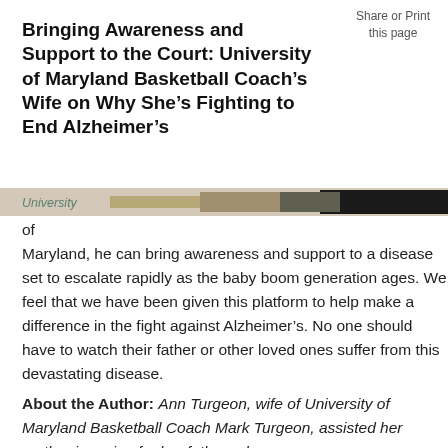Share or Print this page
Bringing Awareness and Support to the Court: University of Maryland Basketball Coach’s Wife on Why She’s Fighting to End Alzheimer’s
[Figure (photo): Partial image strip showing a person, cropped and partially visible, associated with University of Maryland]
University
of
Maryland, he can bring awareness and support to a disease set to escalate rapidly as the baby boom generation ages. We feel that we have been given this platform to help make a difference in the fight against Alzheimer’s. No one should have to watch their father or other loved ones suffer from this devastating disease.
About the Author: Ann Turgeon, wife of University of Maryland Basketball Coach Mark Turgeon, assisted her mother in caring for her father, who